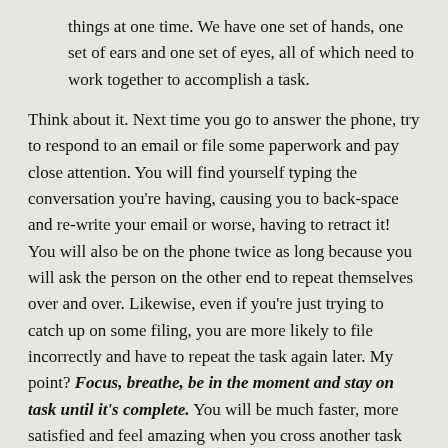things at one time.  We have one set of hands, one set of ears and one set of eyes, all of which need to work together to accomplish a task.
Think about it.  Next time you go to answer the phone, try to respond to an email or file some paperwork and pay close attention.  You will find yourself typing the conversation you're having, causing you to back-space and re-write your email or worse, having to retract it!  You will also be on the phone twice as long because you will ask the person on the other end to repeat themselves over and over.  Likewise, even if you're just trying to catch up on some filing, you are more likely to file incorrectly and have to repeat the task again later.  My point?  Focus, breathe, be in the moment and stay on task until it's complete.  You will be much faster, more satisfied and feel amazing when you cross another task off your list!
Keep up the Momentum – once you have refined your